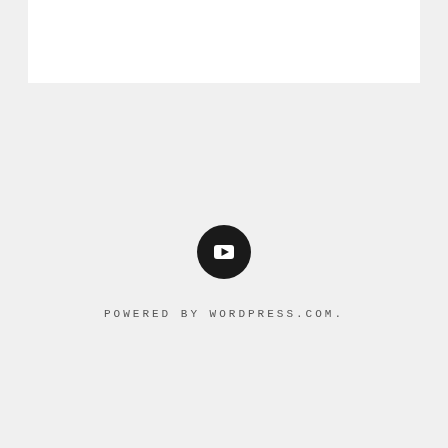[Figure (other): White rectangular box at top of page against light grey background]
[Figure (logo): YouTube icon — black circle with white play button rectangle in center]
POWERED BY WORDPRESS.COM.